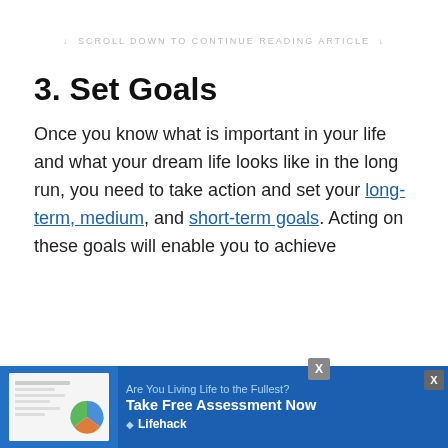↓ SCROLL DOWN TO CONTINUE READING ARTICLE ↓
3. Set Goals
Once you know what is important in your life and what your dream life looks like in the long run, you need to take action and set your long-term, medium, and short-term goals. Acting on these goals will enable you to achieve...
[Figure (infographic): Lifehack advertisement banner: 'Are You Living Life to the Fullest? Take Free Assessment Now' with document/chart images on the left and Lifehack branding on the right.]